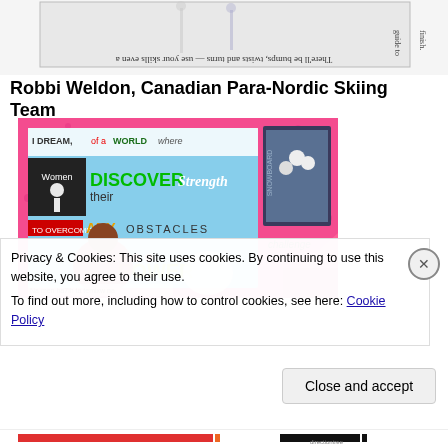[Figure (photo): Upside-down photo strip showing skiing figures with handwritten text: 'There'll be bumps, twists and turns - use your skills even a guide to finish.']
Robbi Weldon, Canadian Para-Nordic Skiing Team
[Figure (photo): Colorful collage on pink background with motivational text: 'I DREAM of a WORLD where Women DISCOVER their Strength ANY OBSTACLES TO OVERCOME challenge POWER Na men ha7lh ta temixw na' with photos of athletes snowboarding and skiing.]
Privacy & Cookies: This site uses cookies. By continuing to use this website, you agree to their use.
To find out more, including how to control cookies, see here: Cookie Policy
Close and accept